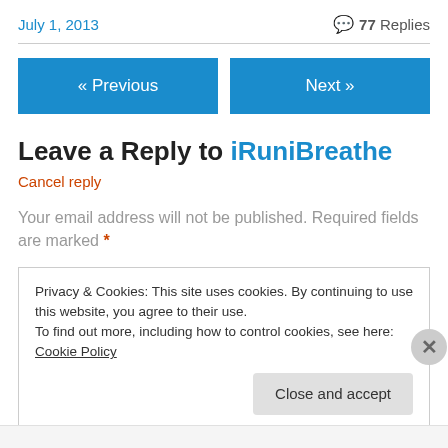July 1, 2013   💬 77 Replies
« Previous   Next »
Leave a Reply to iRuniBreathe
Cancel reply
Your email address will not be published. Required fields are marked *
Privacy & Cookies: This site uses cookies. By continuing to use this website, you agree to their use.
To find out more, including how to control cookies, see here: Cookie Policy
Close and accept